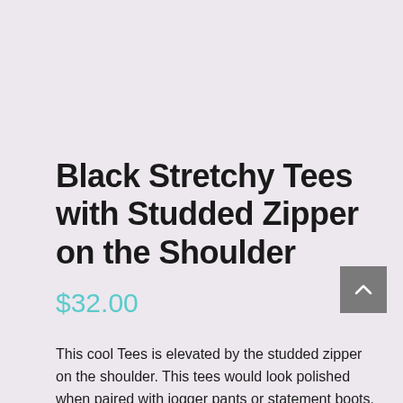Black Stretchy Tees with Studded Zipper on the Shoulder
$32.00
This cool Tees is elevated by the studded zipper on the shoulder. This tees would look polished when paired with jogger pants or statement boots.
Available from size 3T (3-4yrs) – 8T (8-10yrs).